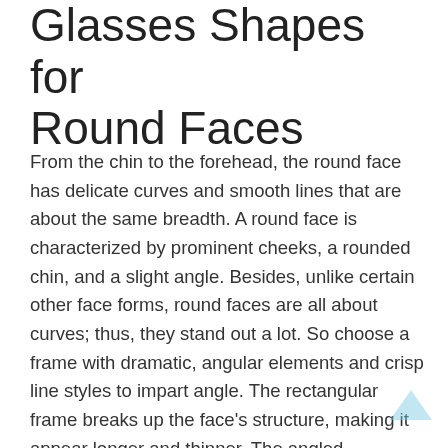Glasses Shapes for Round Faces
From the chin to the forehead, the round face has delicate curves and smooth lines that are about the same breadth. A round face is characterized by prominent cheeks, a rounded chin, and a slight angle. Besides, unlike certain other face forms, round faces are all about curves; thus, they stand out a lot. So choose a frame with dramatic, angular elements and crisp line styles to impart angle. The rectangular frame breaks up the face’s structure, making it appear longer and thinner. The angled geometric edge sharpens and clarifies the face. So whereas having an upward framing like Cateye, consider focusing on and paying attention to your full cheeks.
[Figure (illustration): A light blue upward-pointing chevron/arrow icon in the bottom-right corner, serving as a scroll-to-top button.]